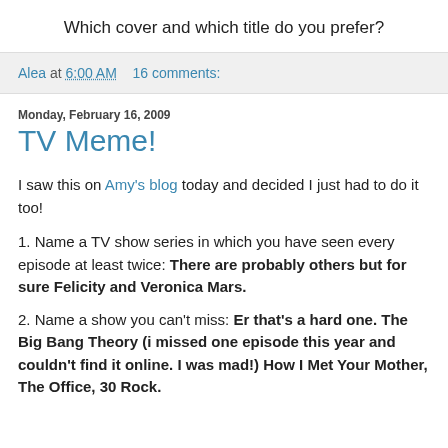Which cover and which title do you prefer?
Alea at 6:00 AM    16 comments:
Monday, February 16, 2009
TV Meme!
I saw this on Amy's blog today and decided I just had to do it too!
1. Name a TV show series in which you have seen every episode at least twice: There are probably others but for sure Felicity and Veronica Mars.
2. Name a show you can't miss: Er that's a hard one. The Big Bang Theory (i missed one episode this year and couldn't find it online. I was mad!) How I Met Your Mother, The Office, 30 Rock.